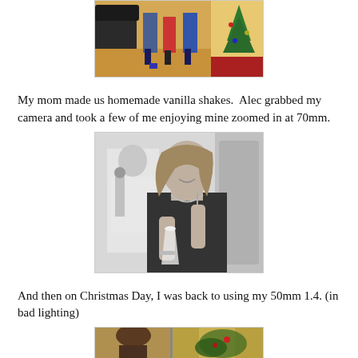[Figure (photo): Color photo of people sitting near a Christmas tree, partially cropped at top]
My mom made us homemade vanilla shakes.  Alec grabbed my camera and took a few of me enjoying mine zoomed in at 70mm.
[Figure (photo): Black and white photo of a woman smiling and holding a milkshake glass, with a boy in background also drinking]
And then on Christmas Day, I was back to using my 50mm 1.4. (in bad lighting)
[Figure (photo): Color photo of Christmas Day scene, partially cropped at bottom of page]